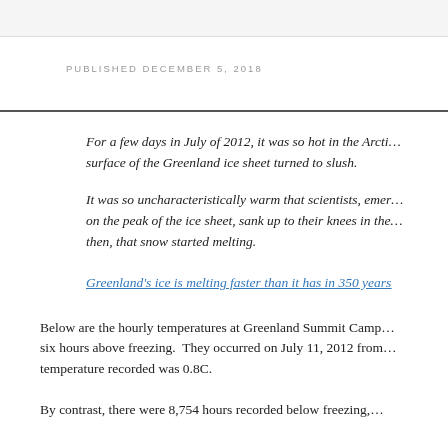PUBLISHED DECEMBER 5, 2018
For a few days in July of 2012, it was so hot in the Arctic, the surface of the Greenland ice sheet turned to slush.
It was so uncharacteristically warm that scientists, emerging on the peak of the ice sheet, sank up to their knees in the then, that snow started melting.
Greenland's ice is melting faster than it has in 350 years
Below are the hourly temperatures at Greenland Summit Camp six hours above freezing.  They occurred on July 11, 2012 from temperature recorded was 0.8C.
By contrast, there were 8,754 hours recorded below freezing,